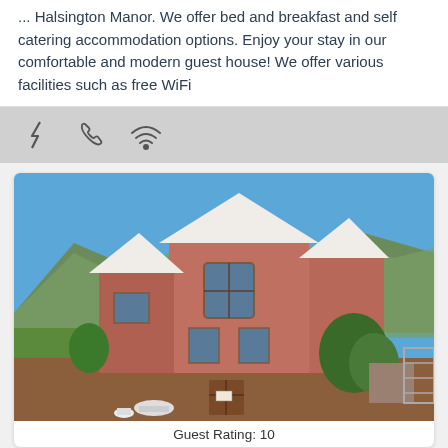... self catering accommodation options. Enjoy your stay in our comfortable and modern guest house! We offer various facilities such as free WiFi
[Figure (infographic): Icons bar showing three icons: lightning bolt, phone/handset, and WiFi symbol on a grey background]
[Figure (photo): Photograph of a red/terracotta two-storey guest house with a peaked roof, brown wooden gate, brick wall, green trees, and mountains with blue sky in the background]
Guest Rating: 10